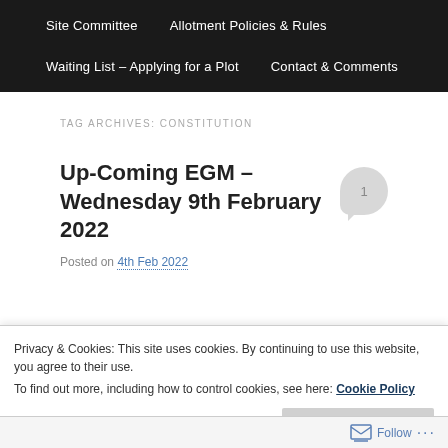Site Committee   Allotment Policies & Rules   Waiting List – Applying for a Plot   Contact & Comments
TAG ARCHIVES: CONSTITUTION
Up-Coming EGM – Wednesday 9th February 2022
Posted on 4th Feb 2022
Privacy & Cookies: This site uses cookies. By continuing to use this website, you agree to their use.
To find out more, including how to control cookies, see here: Cookie Policy
Follow ...